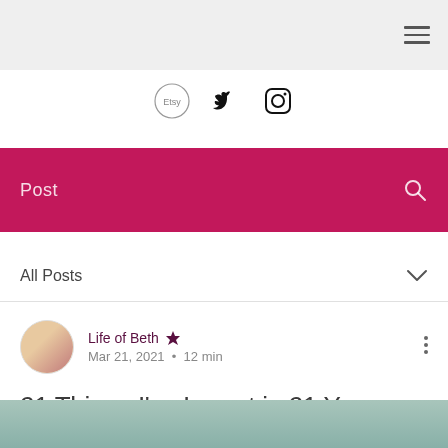Navigation bar with hamburger menu
[Figure (screenshot): Social media icons row: Etsy circle logo, Twitter bird icon, Instagram camera icon]
Post
All Posts
Life of Beth Admin
Mar 21, 2021 • 12 min
21 Things I've Learnt in 21 Years
[Figure (photo): Teal/sage green background at bottom of page]